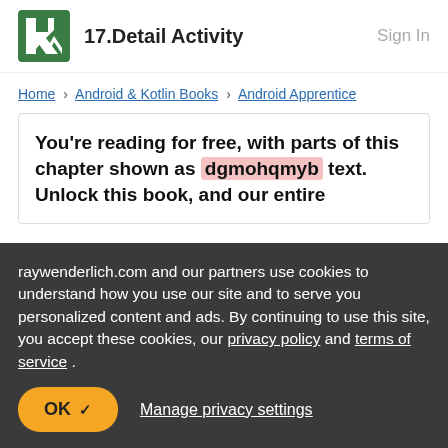17.Detail Activity   Sign In
Home > Android & Kotlin Books > Android Apprentice
You're reading for free, with parts of this chapter shown as dgmohqmyb text. Unlock this book, and our entire
raywenderlich.com and our partners use cookies to understand how you use our site and to serve you personalized content and ads. By continuing to use this site, you accept these cookies, our privacy policy and terms of service.
OK ✓   Manage privacy settings